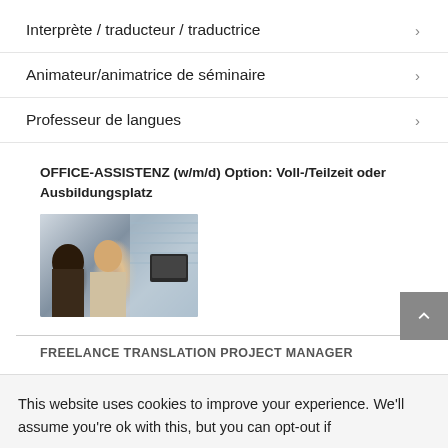Interprète / traducteur / traductrice
Animateur/animatrice de séminaire
Professeur de langues
OFFICE-ASSISTENZ (w/m/d) Option: Voll-/Teilzeit oder Ausbildungsplatz
[Figure (photo): Two women in an office setting, one facing camera, with computer monitors in background]
FREELANCE TRANSLATION PROJECT MANAGER
This website uses cookies to improve your experience. We'll assume you're ok with this, but you can opt-out if